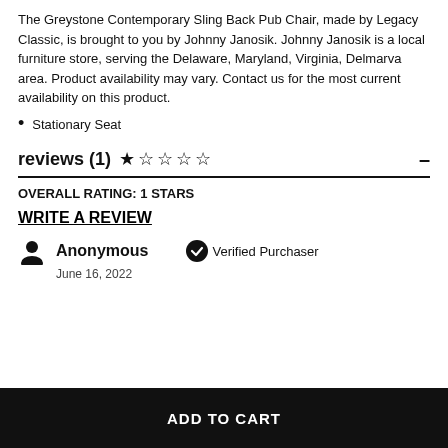The Greystone Contemporary Sling Back Pub Chair, made by Legacy Classic, is brought to you by Johnny Janosik. Johnny Janosik is a local furniture store, serving the Delaware, Maryland, Virginia, Delmarva area. Product availability may vary. Contact us for the most current availability on this product.
Stationary Seat
reviews (1) ★ ☆ ☆ ☆ ☆ —
OVERALL RATING: 1 STARS
WRITE A REVIEW
Anonymous   Verified Purchaser
June 16, 2022
ADD TO CART